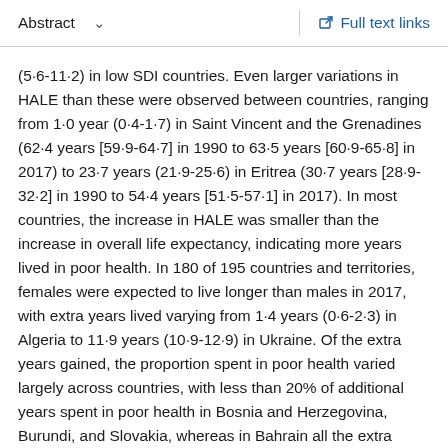Abstract   Full text links
(5·6-11·2) in low SDI countries. Even larger variations in HALE than these were observed between countries, ranging from 1·0 year (0·4-1·7) in Saint Vincent and the Grenadines (62·4 years [59·9-64·7] in 1990 to 63·5 years [60·9-65·8] in 2017) to 23·7 years (21·9-25·6) in Eritrea (30·7 years [28·9-32·2] in 1990 to 54·4 years [51·5-57·1] in 2017). In most countries, the increase in HALE was smaller than the increase in overall life expectancy, indicating more years lived in poor health. In 180 of 195 countries and territories, females were expected to live longer than males in 2017, with extra years lived varying from 1·4 years (0·6-2·3) in Algeria to 11·9 years (10·9-12·9) in Ukraine. Of the extra years gained, the proportion spent in poor health varied largely across countries, with less than 20% of additional years spent in poor health in Bosnia and Herzegovina, Burundi, and Slovakia, whereas in Bahrain all the extra years were